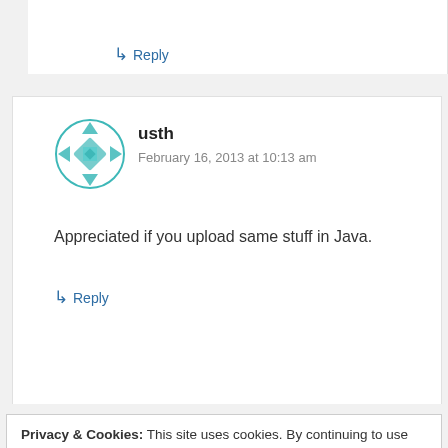question.
↳ Reply
usth
February 16, 2013 at 10:13 am
Appreciated if you upload same stuff in Java.
↳ Reply
Privacy & Cookies: This site uses cookies. By continuing to use this website, you agree to their use. To find out more, including how to control cookies, see here: Cookie Policy
Close and accept